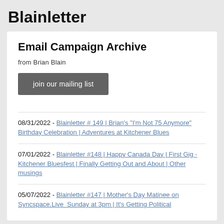Blainletter
Email Campaign Archive
from Brian Blain
join our mailing list
08/31/2022 - Blainletter # 149 | Brian's "I'm Not 75 Anymore" Birthday Celebration | Adventures at Kitchener Blues
07/01/2022 - Blainletter #148 | Happy Canada Day | First Gig - Kitchener Bluesfest | Finally Getting Out and About | Other musings
05/07/2022 - Blainletter #147 | Mother's Day Matinee on Syncspace.Live  Sunday at 3pm | It's Getting Political